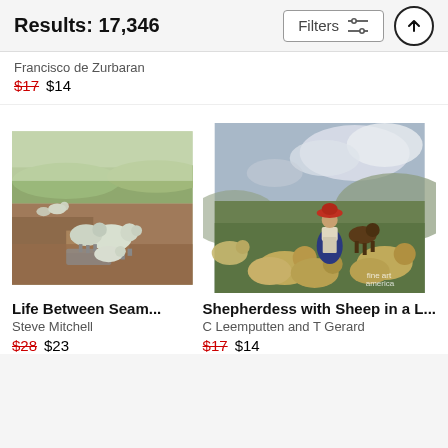Results: 17,346
Filters
Francisco de Zurbaran
$17  $14
[Figure (photo): Painting of sheep in a landscape with muted earth tones, hills in background.]
Life Between Seam...
Steve Mitchell
$28  $23
[Figure (photo): Painting of a shepherdess in red hat sitting among a flock of sheep in a green hillside landscape, with a dog, fine art america watermark.]
Shepherdess with Sheep in a L...
C Leemputten and T Gerard
$17  $14